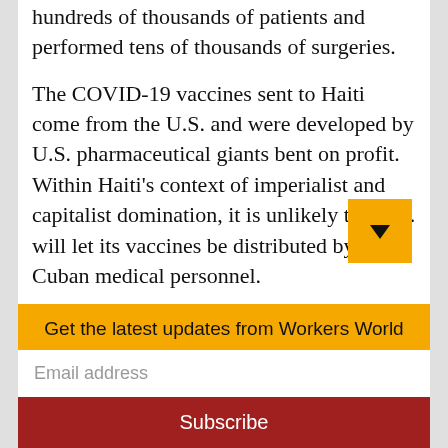hundreds of thousands of patients and performed tens of thousands of surgeries.
The COVID-19 vaccines sent to Haiti come from the U.S. and were developed by U.S. pharmaceutical giants bent on profit. Within Haiti’s context of imperialist and capitalist domination, it is unlikely the U.S. will let its vaccines be distributed by Cuban medical personnel.
Revolutionary Cuba’s history of solidarity with Haiti offers the possibility of another kind of future, a different choice for a
Get the latest updates from Workers World
Email address
Subscribe